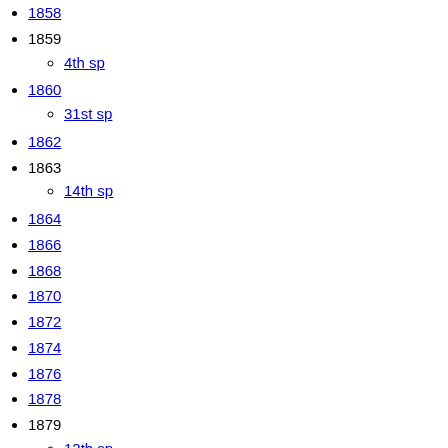1858
1859
4th sp
1860
31st sp
1862
1863
14th sp
1864
1866
1868
1870
1872
1874
1876
1878
1879
12th sp
1880
32nd sp
1881
9th sp
11th sp
22nd sp
1881